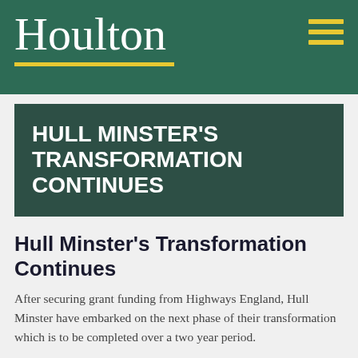Houlton
HULL MINSTER'S TRANSFORMATION CONTINUES
Hull Minster's Transformation Continues
After securing grant funding from Highways England, Hull Minster have embarked on the next phase of their transformation which is to be completed over a two year period.
Paul Gibson, Commercial Director of Houlton's